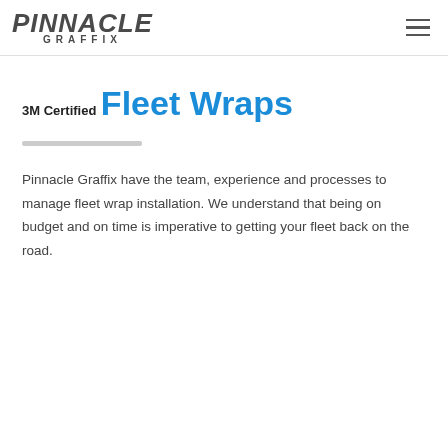PINNACLE GRAFFIX
3M Certified
Fleet Wraps
Pinnacle Graffix have the team, experience and processes to manage fleet wrap installation. We understand that being on budget and on time is imperative to getting your fleet back on the road.